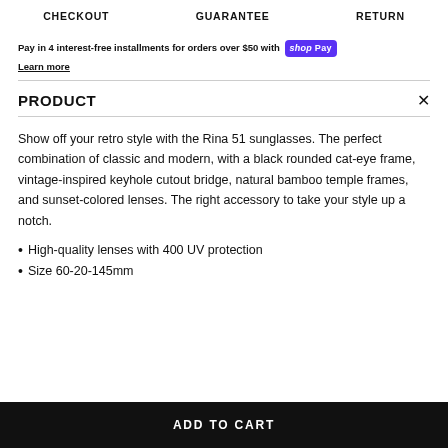CHECKOUT   GUARANTEE   RETURN
Pay in 4 interest-free installments for orders over $50 with shop Pay
Learn more
PRODUCT
Show off your retro style with the Rina 51 sunglasses. The perfect combination of classic and modern, with a black rounded cat-eye frame, vintage-inspired keyhole cutout bridge, natural bamboo temple frames, and sunset-colored lenses. The right accessory to take your style up a notch.
High-quality lenses with 400 UV protection
Size 60-20-145mm
ADD TO CART